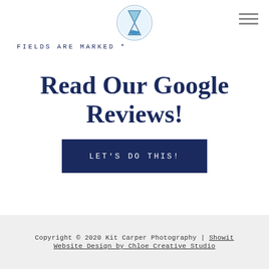[Figure (logo): Circular logo with hourglass and blue/teal water design for Kit Carper Photography]
FIELDS ARE MARKED *
Read Our Google Reviews!
LET'S DO THIS!
Copyright © 2020 Kit Carper Photography | Showit Website Design by Chloe Creative Studio